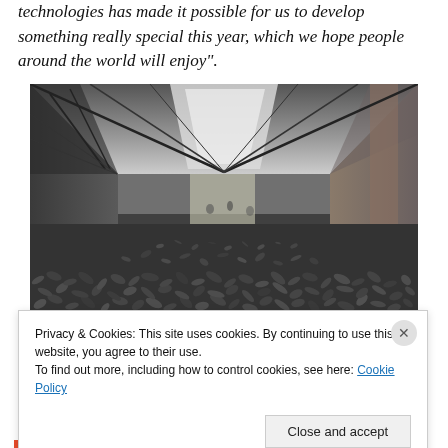technologies has made it possible for us to develop something really special this year, which we hope people around the world will enjoy".
[Figure (photo): Interior of a large industrial hall (Tate Modern Turbine Hall) with a floor completely covered in small seeds or stones, viewed from ground level, with skylights above and people visible in the background.]
Privacy & Cookies: This site uses cookies. By continuing to use this website, you agree to their use. To find out more, including how to control cookies, see here: Cookie Policy